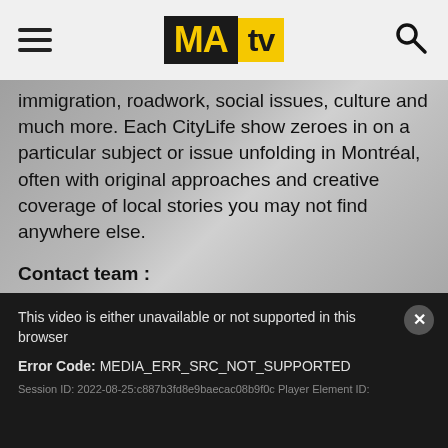[Figure (logo): MAtv logo — MA in white text on black background, tv in black text on yellow background]
immigration, roadwork, social issues, culture and much more. Each CityLife show zeroes in on a particular subject or issue unfolding in Montréal, often with original approaches and creative coverage of local stories you may not find anywhere else.
Contact team :
citylife@matv.ca
This video is either unavailable or not supported in this browser
Error Code: MEDIA_ERR_SRC_NOT_SUPPORTED
Session ID: 2022-08-25:c887b3fd8e9baecac08b9f0c Player Element ID: